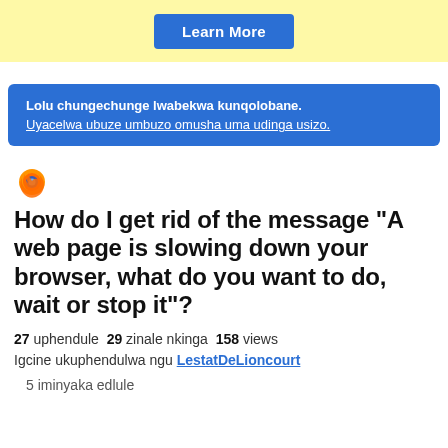[Figure (other): Yellow banner with a blue 'Learn More' button centered]
Lolu chungechunge lwabekwa kunqolobane. Uyacelwa ubuze umbuzo omusha uma udinga usizo.
[Figure (logo): Firefox browser logo icon]
How do I get rid of the message "A web page is slowing down your browser, what do you want to do, wait or stop it"?
27 uphendule 29 zinale nkinga 158 views Igcine ukuphendulwa ngu LestatDeLioncourt
5 iminyaka edlule